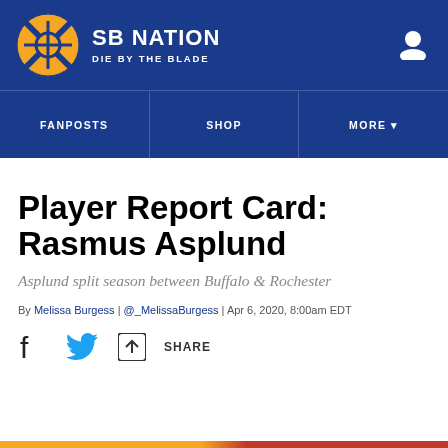SB NATION | DIE BY THE BLADE
FANPOSTS | SHOP | MORE
Player Report Card: Rasmus Asplund
Asplund split season between Buffalo & Rochester
By Melissa Burgess | @_MelissaBurgess | Apr 6, 2020, 8:00am EDT
SHARE